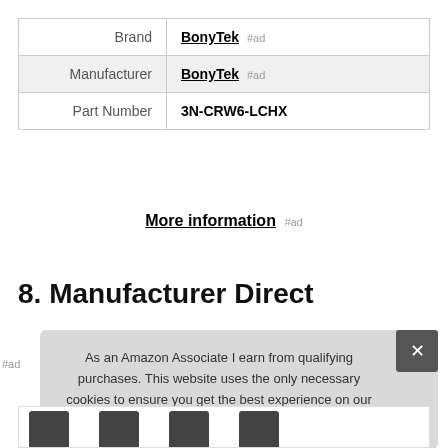|  |  |
| --- | --- |
| Brand | BonyTek #ad |
| Manufacturer | BonyTek #ad |
| Part Number | 3N-CRW6-LCHX |
More information #ad
8. Manufacturer Direct
As an Amazon Associate I earn from qualifying purchases. This website uses the only necessary cookies to ensure you get the best experience on our website. More information